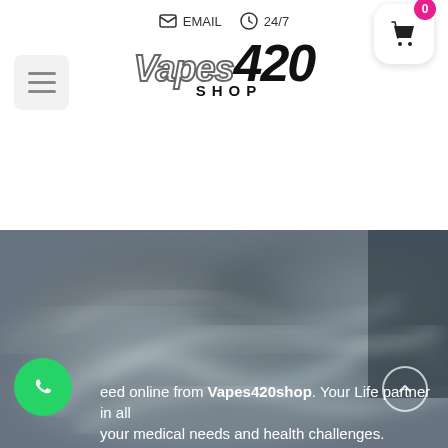EMAIL  24/7
[Figure (logo): Vapes420 Shop logo with stylized text]
[Figure (photo): Misty/smoky background image used as hero banner]
eed online from Vapes420shop. Your Life partner in all your medical needs and health challenges.